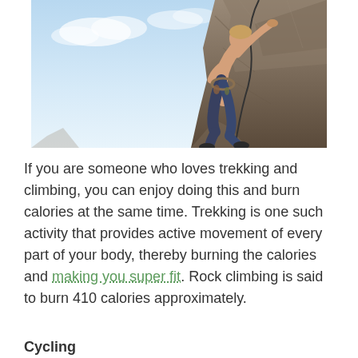[Figure (photo): A rock climber scaling a steep rocky cliff face, wearing dark pants and no shirt, using ropes and climbing gear, with a blue sky background.]
If you are someone who loves trekking and climbing, you can enjoy doing this and burn calories at the same time. Trekking is one such activity that provides active movement of every part of your body, thereby burning the calories and making you super fit. Rock climbing is said to burn 410 calories approximately.
Cycling